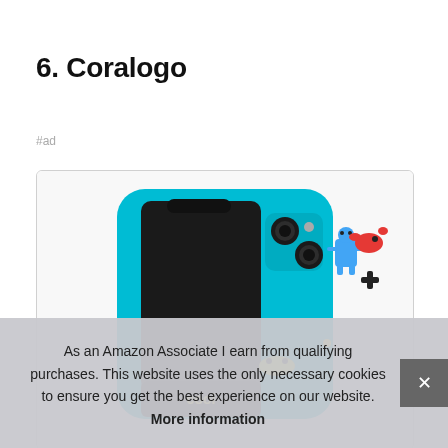6. Coralogo
#ad
[Figure (photo): A bright teal/cyan iPhone case with colorful 3D cartoon character stickers including a blue robot figure, red fish, black cross shape, and other small characters. The phone case is shown from the back angle revealing the dual camera cutout.]
As an Amazon Associate I earn from qualifying purchases. This website uses the only necessary cookies to ensure you get the best experience on our website. More information